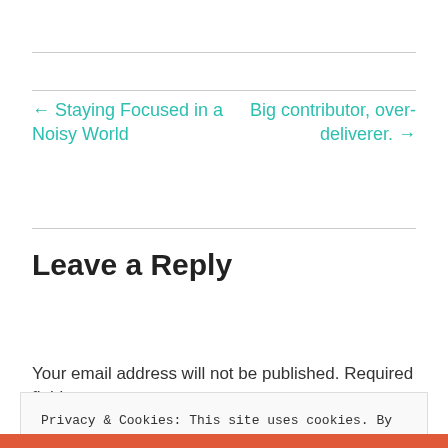← Staying Focused in a Noisy World
Big contributor, over-deliverer. →
Leave a Reply
Your email address will not be published. Required fields
Privacy & Cookies: This site uses cookies. By continuing to use this website, you agree to their use. To find out more, including how to control cookies, see here: Cookie Policy
Close and accept